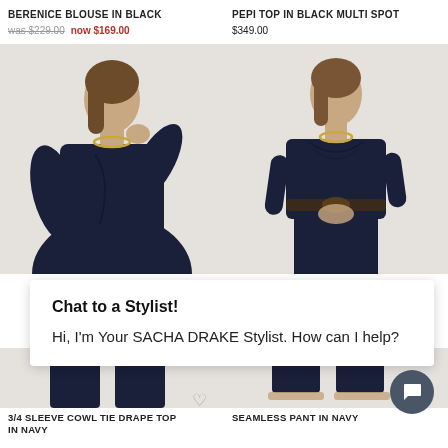BERENICE BLOUSE IN BLACK
was $229.00  now $169.00
PEPI TOP IN BLACK MULTI SPOT
$349.00
[Figure (photo): Female model wearing a navy wrap-style blouse with gold necklace, hand raised to neck]
[Figure (photo): Female model wearing a navy draped top with belt, standing looking up]
Chat to a Stylist!
Hi, I'm Your SACHA DRAKE Stylist. How can I help?
[Figure (photo): Bottom portion of navy outfit, legs and lower body of left model]
[Figure (photo): Bottom portion of navy outfit, legs and lower body of right model with sandals]
3/4 SLEEVE COWL TIE DRAPE TOP IN NAVY
SEAMLESS PANT IN NAVY